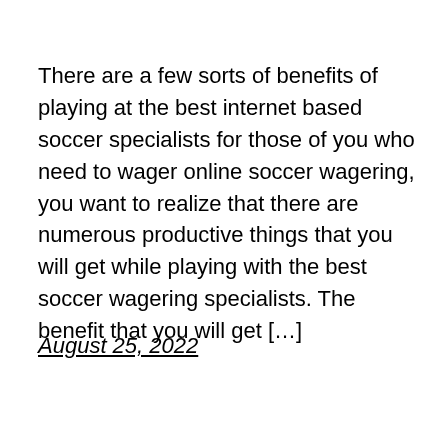There are a few sorts of benefits of playing at the best internet based soccer specialists for those of you who need to wager online soccer wagering, you want to realize that there are numerous productive things that you will get while playing with the best soccer wagering specialists. The benefit that you will get […]
August 25, 2022